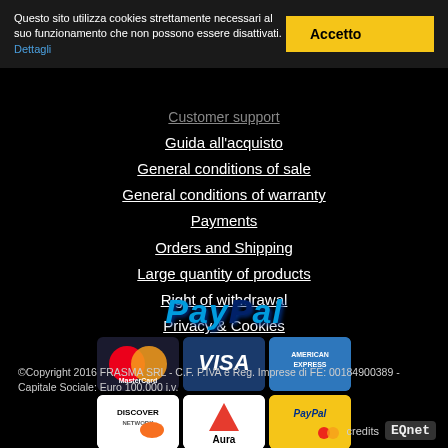Questo sito utilizza cookies strettamente necessari al suo funzionamento che non possono essere disattivati. Dettagli
Accetto
Customer support
Guida all'acquisto
General conditions of sale
General conditions of warranty
Payments
Orders and Shipping
Large quantity of products
Right of withdrawal
Privacy & Cookies
[Figure (logo): PayPal logo with payment card icons: MasterCard, VISA, American Express, Discover, Aura, PayPal]
©Copyright 2016 FRASMA SRL - C.F. P.IVA e Reg. Imprese di FE: 00184900389 - Capitale Sociale: Euro 100.000 i.v.
credits EQnet